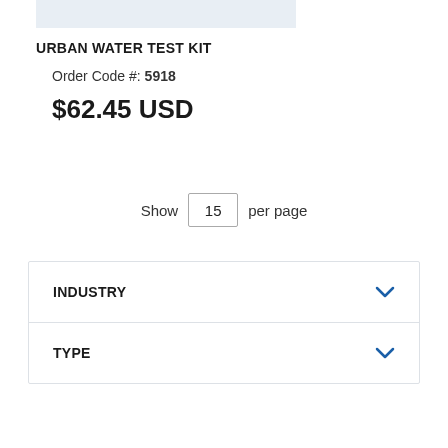[Figure (other): Top portion of a product image strip (light blue/grey)]
URBAN WATER TEST KIT
Order Code #: 5918
$62.45 USD
Show 15 per page
INDUSTRY
TYPE